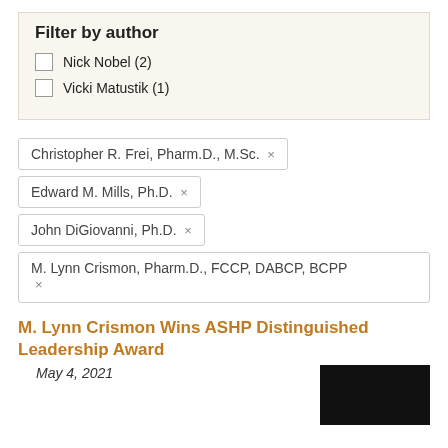Filter by author
Nick Nobel (2)
Vicki Matustik (1)
Christopher R. Frei, Pharm.D., M.Sc. ×
Edward M. Mills, Ph.D. ×
John DiGiovanni, Ph.D. ×
M. Lynn Crismon, Pharm.D., FCCP, DABCP, BCPP ×
M. Lynn Crismon Wins ASHP Distinguished Leadership Award
May 4, 2021